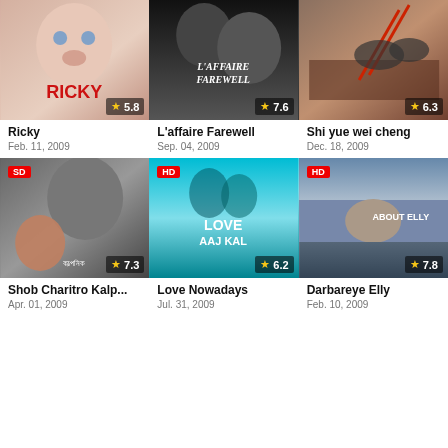[Figure (photo): Movie poster for Ricky - baby face close-up with red title text, rating 5.8]
Ricky
Feb. 11, 2009
[Figure (photo): Movie poster for L'affaire Farewell - two men's faces, dark tones, rating 7.6]
L'affaire Farewell
Sep. 04, 2009
[Figure (photo): Movie poster for Shi yue wei cheng - action scene, rating 6.3]
Shi yue wei cheng
Dec. 18, 2009
[Figure (photo): Movie poster for Shob Charitro Kalp... - SD badge, Bengali text, rating 7.3]
Shob Charitro Kalp...
Apr. 01, 2009
[Figure (photo): Movie poster for Love Nowadays (Love Aaj Kal) - HD badge, couple, rating 6.2]
Love Nowadays
Jul. 31, 2009
[Figure (photo): Movie poster for Darbareye Elly (About Elly) - HD badge, split poster, rating 7.8]
Darbareye Elly
Feb. 10, 2009